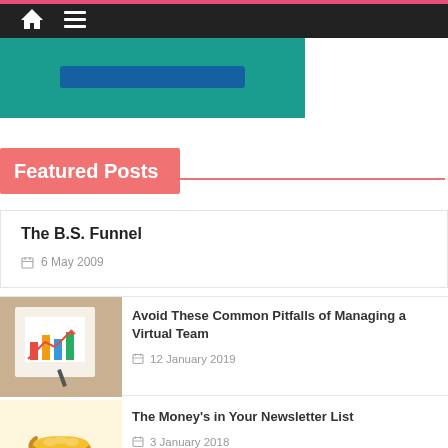Navigation bar with home icon and hamburger menu
[Figure (screenshot): Teal/green hero banner section with a blue button overlay, partially visible at top of page]
Featured Posts
The B.S. Funnel — 6 May 2009
Avoid These Common Pitfalls of Managing a Virtual Team — 12 January 2019
The Money's in Your Newsletter List — 3 January 2018